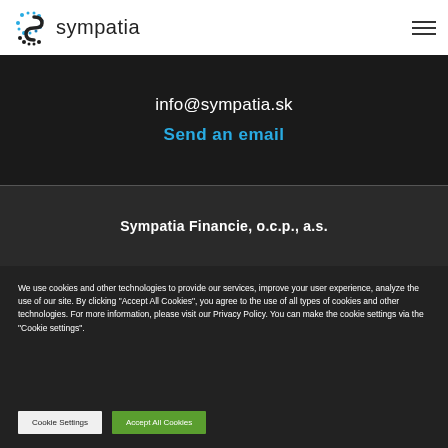[Figure (logo): Sympatia logo with blue circular/S icon and 'sympatia' wordmark text]
info@sympatia.sk
Send an email
Sympatia Financie, o.c.p., a.s.
We use cookies and other technologies to provide our services, improve your user experience, analyze the use of our site. By clicking "Accept All Cookies", you agree to the use of all types of cookies and other technologies. For more information, please visit our Privacy Policy. You can make the cookie settings via the "Cookie settings".
Cookie Settings
Accept All Cookies